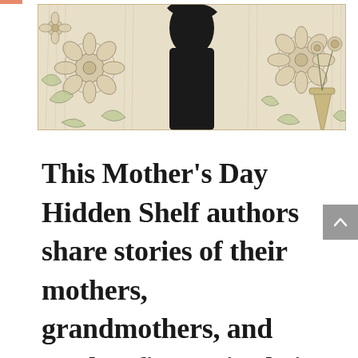[Figure (illustration): A decorative banner image showing a black silhouette of a woman against a floral curtain background with line-drawn flowers and leaves in beige/cream tones.]
This Mother's Day Hidden Shelf authors share stories of their mothers, grandmothers, and mother figures in their books.